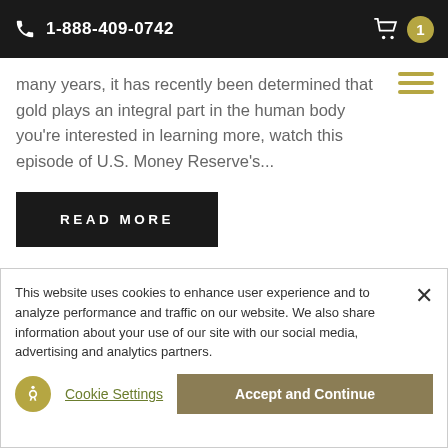1-888-409-0742
many years, it has recently been determined that gold plays an integral part in the human body you're interested in learning more, watch this episode of U.S. Money Reserve's...
READ MORE
This website uses cookies to enhance user experience and to analyze performance and traffic on our website. We also share information about your use of our site with our social media, advertising and analytics partners.
Cookie Settings
Accept and Continue